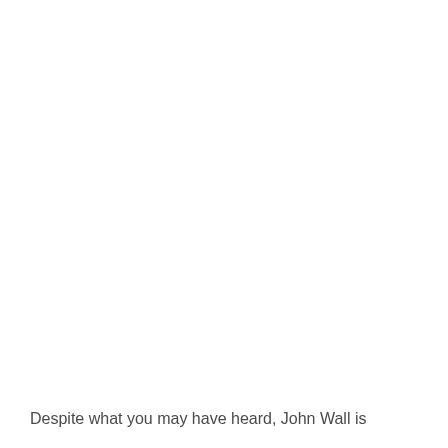Despite what you may have heard, John Wall is